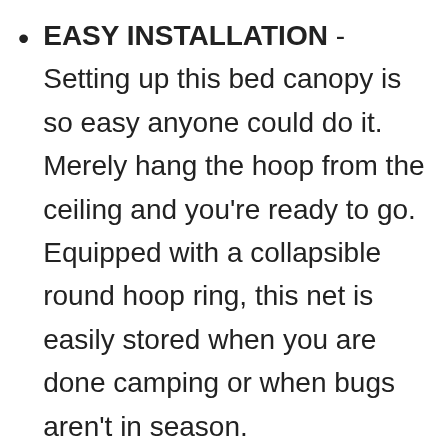EASY INSTALLATION - Setting up this bed canopy is so easy anyone could do it. Merely hang the hoop from the ceiling and you're ready to go. Equipped with a collapsible round hoop ring, this net is easily stored when you are done camping or when bugs aren't in season.
STYLISH INDOOR AND OUTDOOR DÉCOR - Never sacrifice style for function again. Add a creative and fashionable décor statement in any room or